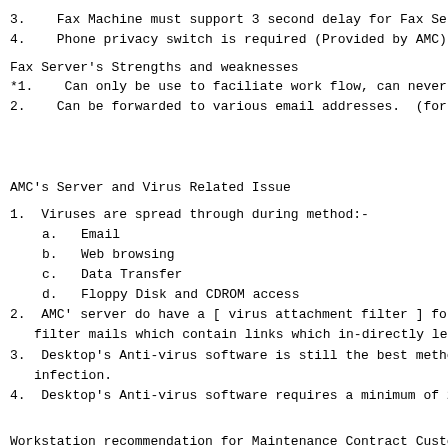3.   Fax Machine must support 3 second delay for Fax Serve
4.   Phone privacy switch is required (Provided by AMC)
Fax Server's Strengths and weaknesses
*1.   Can only be use to faciliate work flow, can never re
2.   Can be forwarded to various email addresses.  (for Cu
AMC's Server and Virus Related Issue
1.  Viruses are spread through during method:-
a.   Email
b.   Web browsing
c.   Data Transfer
d.   Floppy Disk and CDROM access
2.  AMC' server do have a [ virus attachment filter ] for
filter mails which contain links which in-directly le
3.  Desktop's Anti-virus software is still the best method
infection.
4.  Desktop's Anti-virus software requires a minimum of 2
Workstation recommendation for Maintenance Contract Custom
1.    User are advised to replace problematic system when t